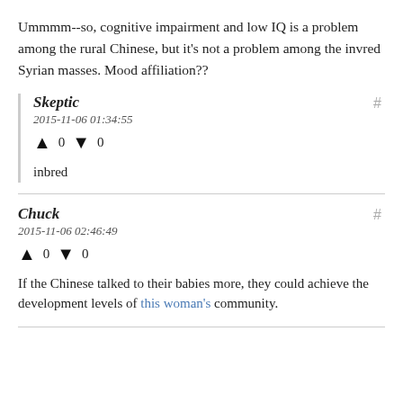Ummmm--so, cognitive impairment and low IQ is a problem among the rural Chinese, but it's not a problem among the invred Syrian masses. Mood affiliation??
Skeptic
2015-11-06 01:34:55
↑ 0 ↓ 0
inbred
Chuck
2015-11-06 02:46:49
↑ 0 ↓ 0
If the Chinese talked to their babies more, they could achieve the development levels of this woman's community.